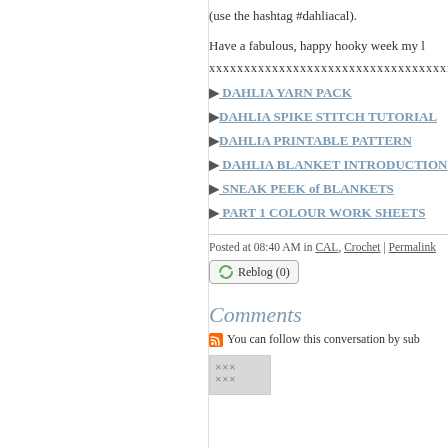(use the hashtag #dahliacal).
Have a fabulous, happy hooky week my l
xxxxxxxxxxxxxxxxxxxxxxxxxxxxxxxxxxxxxxxxx
▶ DAHLIA YARN PACK
▶DAHLIA SPIKE STITCH TUTORIAL
▶DAHLIA PRINTABLE PATTERN
▶ DAHLIA BLANKET INTRODUCTION
▶ SNEAK PEEK of BLANKETS
▶ PART 1 COLOUR WORK SHEETS
Posted at 08:40 AM in CAL, Crochet | Permalink
Reblog (0)
Comments
You can follow this conversation by sub